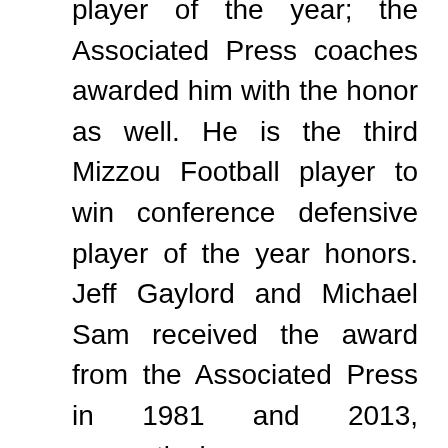player of the year; the Associated Press coaches awarded him with the honor as well. He is the third Mizzou Football player to win conference defensive player of the year honors. Jeff Gaylord and Michael Sam received the award from the Associated Press in 1981 and 2013, respectively.

Ray, a first-year starter, set a school record with 14.0 sacks, also counting 21.0 tackles for loss and ranking fifth on the team with 61 tackles on the year. Ray leads the SEC and ranks